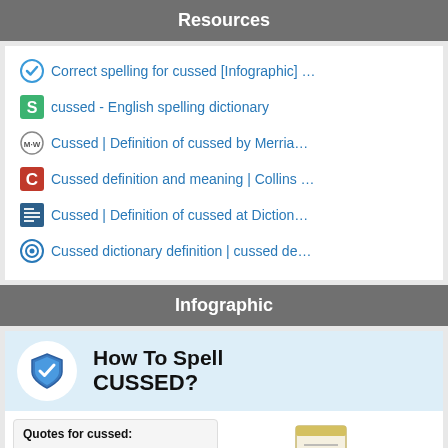Resources
Correct spelling for cussed [Infographic] …
cussed - English spelling dictionary
Cussed | Definition of cussed by Merria…
Cussed definition and meaning | Collins …
Cussed | Definition of cussed at Diction…
Cussed dictionary definition | cussed de…
Infographic
[Figure (infographic): How To Spell CUSSED? infographic with shield checkmark icon, Quotes for cussed section with Lucy text, and List of misspellings section with document search icon]